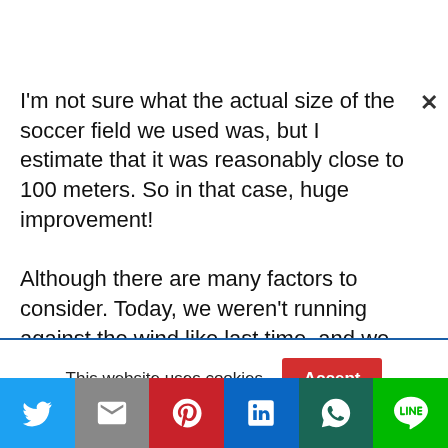I'm not sure what the actual size of the soccer field we used was, but I estimate that it was reasonably close to 100 meters. So in that case, huge improvement!

Although there are many factors to consider. Today, we weren't running against the wind like last time, and we didn't have the grueling 400 meter
This website uses cookies.
[Figure (infographic): Social sharing buttons bar: Twitter (blue), Gmail (gray), Pinterest (red), LinkedIn (blue), WhatsApp (dark teal), Line (green)]